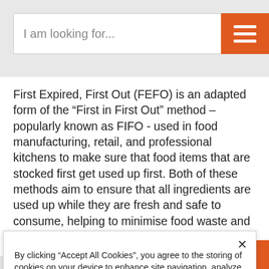I am looking for...
First Expired, First Out (FEFO) is an adapted form of the “First in First Out” method – popularly known as FIFO - used in food manufacturing, retail, and professional kitchens to make sure that food items that are stocked first get used up first. Both of these methods aim to ensure that all ingredients are used up while they are fresh and safe to consume, helping to minimise food waste and spoilage.
THE FIRST EXPIRED, FIRST OUT
By clicking “Accept All Cookies”, you agree to the storing of cookies on your device to enhance site navigation, analyze site usage, and assist in our marketing efforts.